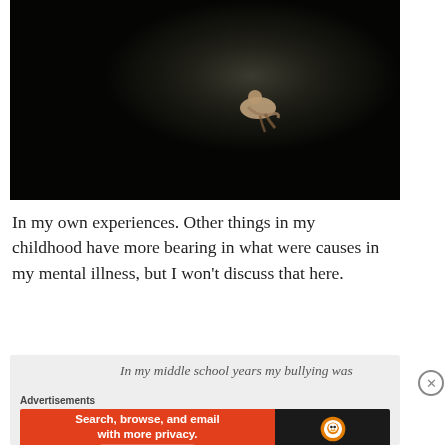[Figure (photo): A person lying or crouching on a dark stage floor, lit by a single spotlight, surrounded by deep shadow. The image is dark and dramatic.]
In my own experiences. Other things in my childhood have more bearing in what were causes in my mental illness, but I won't discuss that here.
In my middle school years my bullying was
Advertisements
[Figure (screenshot): DuckDuckGo advertisement banner: orange section reads 'Search, browse, and email with more privacy. All in One Free App', dark section shows DuckDuckGo logo and name.]